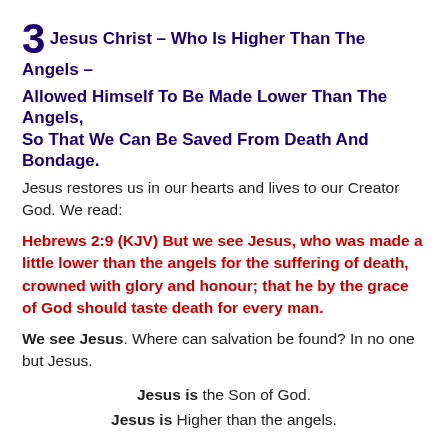3 Jesus Christ – Who Is Higher Than The Angels –
Allowed Himself To Be Made Lower Than The Angels, So That We Can Be Saved From Death And Bondage.
Jesus restores us in our hearts and lives to our Creator God. We read:
Hebrews 2:9 (KJV) But we see Jesus, who was made a little lower than the angels for the suffering of death, crowned with glory and honour; that he by the grace of God should taste death for every man.
We see Jesus. Where can salvation be found? In no one but Jesus.
Jesus is the Son of God.
Jesus is Higher than the angels.